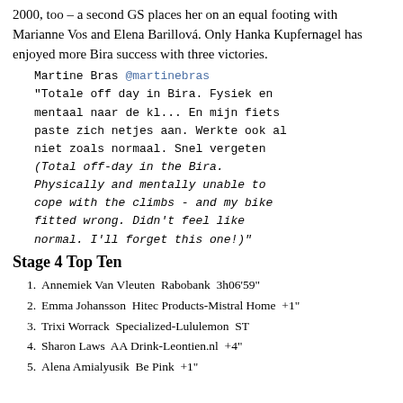2000, too – a second GS places her on an equal footing with Marianne Vos and Elena Barillová. Only Hanka Kupfernagel has enjoyed more Bira success with three victories.
Martine Bras @martinebras
"Totale off day in Bira. Fysiek en mentaal naar de kl... En mijn fiets paste zich netjes aan. Werkte ook al niet zoals normaal. Snel vergeten (Total off-day in the Bira. Physically and mentally unable to cope with the climbs - and my bike fitted wrong. Didn't feel like normal. I'll forget this one!)"
Stage 4 Top Ten
1. Annemiek Van Vleuten  Rabobank  3h06'59"
2. Emma Johansson  Hitec Products-Mistral Home  +1"
3. Trixi Worrack  Specialized-Lululemon  ST
4. Sharon Laws  AA Drink-Leontien.nl  +4"
5. Alena Amialyusik  Be Pink  +1"